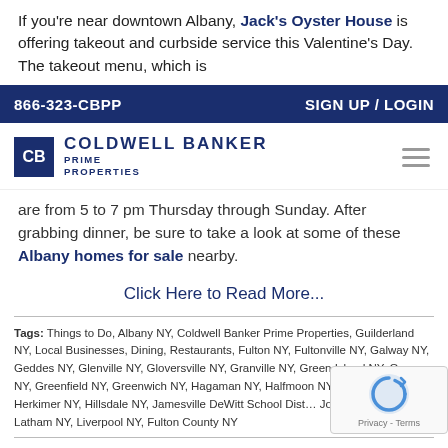If you're near downtown Albany, Jack's Oyster House is offering takeout and curbside service this Valentine's Day. The takeout menu, which is
866-323-CBPP    SIGN UP / LOGIN
[Figure (logo): Coldwell Banker Prime Properties logo with hamburger menu icon]
are from 5 to 7 pm Thursday through Sunday. After grabbing dinner, be sure to take a look at some of these Albany homes for sale nearby.
Click Here to Read More...
Tags: Things to Do, Albany NY, Coldwell Banker Prime Properties, Guilderland NY, Local Businesses, Dining, Restaurants, Fulton NY, Fultonville NY, Galway NY, Geddes NY, Glenville NY, Gloversville NY, Granville NY, Green Island NY, Greene NY, Greenfield NY, Greenwich NY, Hagaman NY, Halfmoon NY, Hamilton NY, Herkimer NY, Hillsdale NY, Jamesville DeWitt School District, Johnstown NY, Latham NY, Liverpool NY, Fulton County NY
Related Markets: Albany, Fulton, Fultonville, Galway, Geddes, Glenville, Gloversville, Granville, Green Island, Greene, Greenfield, Greenwich,